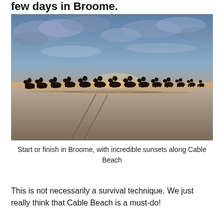few days in Broome.
[Figure (photo): A long line of camels with riders silhouetted against a dramatic sunset sky walking along Cable Beach in Broome, Western Australia. The wet sand reflects the golden and blue light of the setting sun. Tire tracks are visible in the foreground sand.]
Start or finish in Broome, with incredible sunsets along Cable Beach
This is not necessarily a survival technique. We just really think that Cable Beach is a must-do!